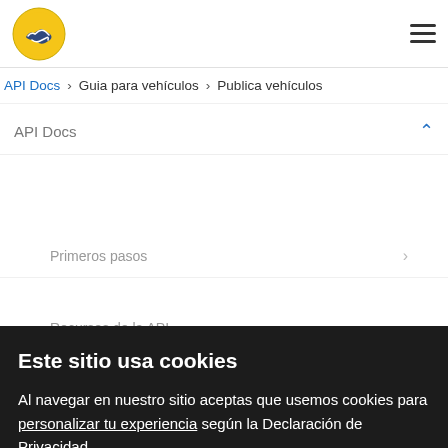[Figure (logo): Circular logo with yellow background and blue handshake icon]
API Docs > Guia para vehículos > Publica vehículos
API Docs
Primeros pasos
Recursos de la API
Este sitio usa cookies
Al navegar en nuestro sitio aceptas que usemos cookies para personalizar tu experiencia según la Declaración de Privacidad.
Entendido
Guia para inmuebles
Configurar cookies
Guia de vehículos